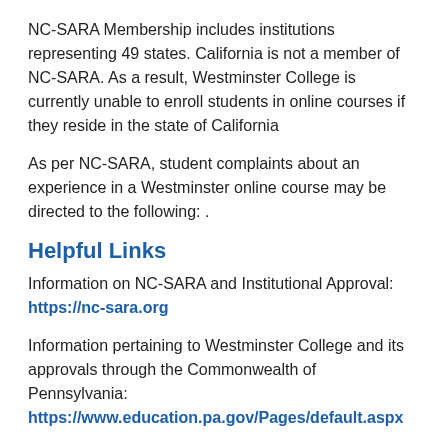NC-SARA Membership includes institutions representing 49 states. California is not a member of NC-SARA. As a result, Westminster College is currently unable to enroll students in online courses if they reside in the state of California
As per NC-SARA, student complaints about an experience in a Westminster online course may be directed to the following: .
Helpful Links
Information on NC-SARA and Institutional Approval:
https://nc-sara.org
Information pertaining to Westminster College and its approvals through the Commonwealth of Pennsylvania:
https://www.education.pa.gov/Pages/default.aspx
For further information regarding the Westminster College Graduate School online course offerings, degree programs, andcertification programs:
www.westminster.edu/graduate
Westminster College is regionally accredited by the Middle